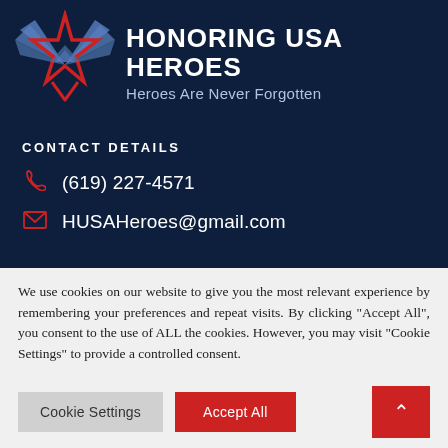[Figure (logo): Honoring USA Heroes logo with eagle wings and red star, white bold text 'HONORING USA HEROES' and subtitle 'Heroes Are Never Forgotten' on dark navy background]
CONTACT DETAILS
(619) 227-4571
HUSAHeroes@gmail.com
We use cookies on our website to give you the most relevant experience by remembering your preferences and repeat visits. By clicking “Accept All”, you consent to the use of ALL the cookies. However, you may visit “Cookie Settings” to provide a controlled consent.
Cookie Settings | Accept All